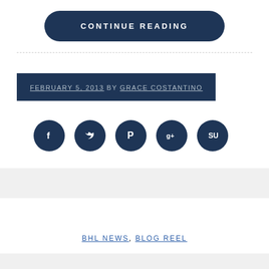CONTINUE READING
FEBRUARY 5, 2013 BY GRACE COSTANTINO
[Figure (infographic): Row of 5 dark navy circular social media icon buttons: Facebook, Twitter, Pinterest, Google+, StumbleUpon]
BHL NEWS, BLOG REEL